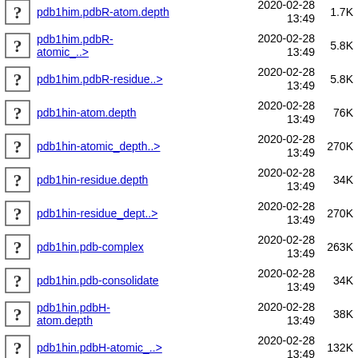pdb1him.pdbR-atom.depth  2020-02-28 13:49  1.7K
pdb1him.pdbR-atomic_..>  2020-02-28 13:49  5.8K
pdb1him.pdbR-residue..>  2020-02-28 13:49  5.8K
pdb1hin-atom.depth  2020-02-28 13:49  76K
pdb1hin-atomic_depth..>  2020-02-28 13:49  270K
pdb1hin-residue.depth  2020-02-28 13:49  34K
pdb1hin-residue_dept..>  2020-02-28 13:49  270K
pdb1hin.pdb-complex  2020-02-28 13:49  263K
pdb1hin.pdb-consolidate  2020-02-28 13:49  34K
pdb1hin.pdbH-atom.depth  2020-02-28 13:49  38K
pdb1hin.pdbH-atomic_..>  2020-02-28 13:49  132K